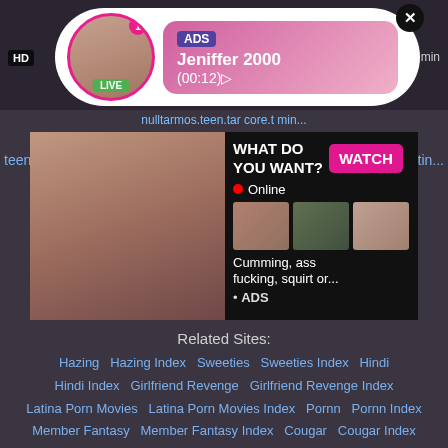[Figure (screenshot): Advertisement popup showing a live cam notification: ADS label, name Jeniffer 2000, time (00:12), with avatar photo, LIVE badge, and close button. HD badge and min label visible.]
teen, ... tin...
[Figure (screenshot): Adult advertisement block showing a photo on the left, and on the right: WHAT DO YOU WANT? WATCH button, Online status, three thumbnails, text Cumming, ass fucking, squirt or..., ADS label.]
Related Sites:
Hazing   Hazing Index   Sweeties   Sweeties Index   Hindi   Hindi Index   Girlfriend Revenge   Girlfriend Revenge Index   Latina Porn Movies   Latina Porn Movies Index   Pornn   Pornn Index   Member Fantasy   Member Fantasy Index   Cougar   Cougar Index   Homemade Porn   Homemade Porn Index   Fuck Com   Fuck Com Index